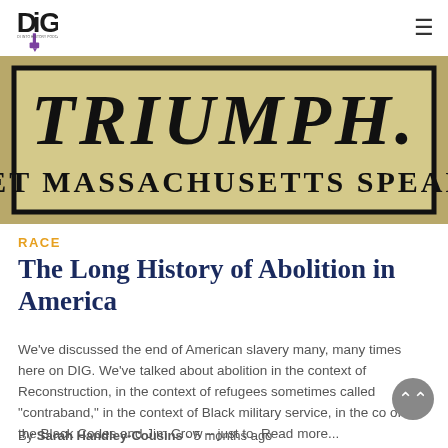DIG logo and hamburger menu
[Figure (photo): Historical broadside/poster on aged yellow paper reading 'TRIUMPH. LET MASSACHUSETTS SPEAK!' in large black bold serif text, bordered with a black frame]
RACE
The Long History of Abolition in America
We've discussed the end of American slavery many, many times here on DIG. We've talked about abolition in the context of Reconstruction, in the context of refugees sometimes called "contraband," in the context of Black military service, in the co of the Black Codes and Jim Crow – just to  Read more...
By Sarah Handley-Cousins  5 months ago